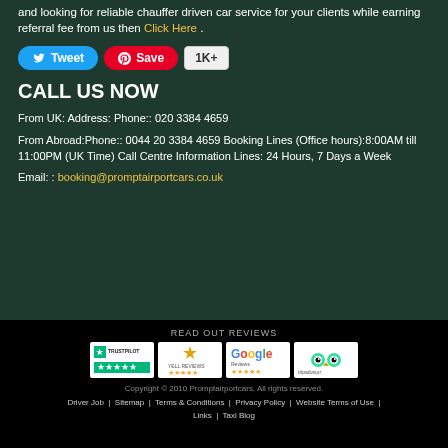and looking for reliable chauffer driven car service for your clients while earning referral fee from us then Click Here .
[Figure (infographic): Social sharing buttons: Tweet (Twitter blue), Save (Pinterest red with 1K+ count)]
CALL US NOW
From UK: Address: Phone:: 020 3384 4659
From Abroad:Phone:: 0044 20 3384 4659 Booking Lines (Office hours):8:00AM till 11:00PM (UK Time) Call Centre Information Lines: 24 Hours, 7 Days a Week
Email: : booking@promptairportcars.co.uk
READ OUT REVIEWS
[Figure (logo): Review platform logos: Trustpilot, Yell Reviews, Google Reviews, TripAdvisor]
Copyright © 2010 Promptairportcars. All rights reserved. Driver Job | Sitemap | Terms & Conditions | Privacy Policy | Website Terms of Use | Links | Taxi Blog